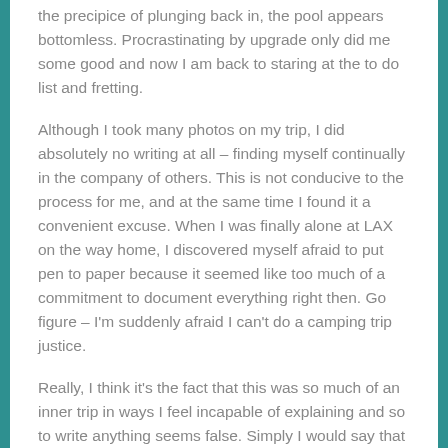the precipice of plunging back in, the pool appears bottomless. Procrastinating by upgrade only did me some good and now I am back to staring at the to do list and fretting.
Although I took many photos on my trip, I did absolutely no writing at all – finding myself continually in the company of others. This is not conducive to the process for me, and at the same time I found it a convenient excuse. When I was finally alone at LAX on the way home, I discovered myself afraid to put pen to paper because it seemed like too much of a commitment to document everything right then. Go figure – I'm suddenly afraid I can't do a camping trip justice.
Really, I think it's the fact that this was so much of an inner trip in ways I feel incapable of explaining and so to write anything seems false. Simply I would say that this is a landscape that prises one open in peculiar ways – a feature that has me in no rush to go back despite the beauty of the